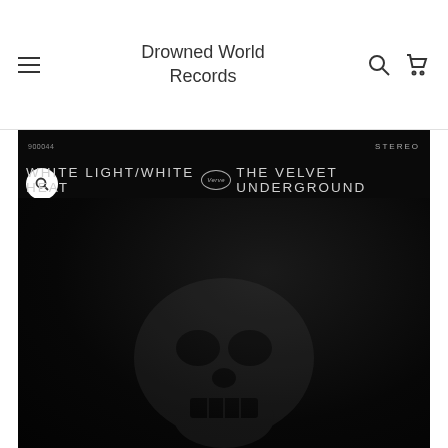Drowned World Records
[Figure (photo): Album cover for White Light/White Heat by The Velvet Underground. Nearly all-black cover with white text reading: 900044 (catalog number), STEREO, WHITE LIGHT/WHITE HEAT [Verve logo oval] THE VELVET UNDERGROUND. A faint skull/figure silhouette is barely visible in the lower portion of the dark background.]